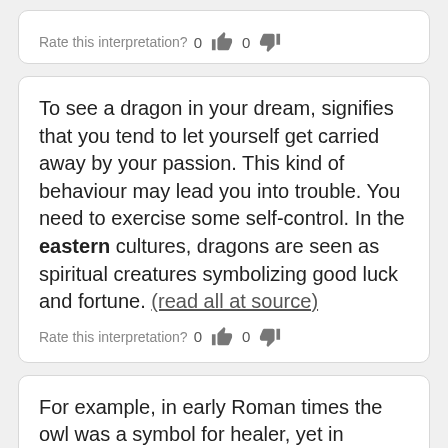Rate this interpretation? 0 [thumbs up] 0 [thumbs down]
To see a dragon in your dream, signifies that you tend to let yourself get carried away by your passion. This kind of behaviour may lead you into trouble. You need to exercise some self-control. In the eastern cultures, dragons are seen as spiritual creatures symbolizing good luck and fortune. (read all at source)
Rate this interpretation? 0 [thumbs up] 0 [thumbs down]
For example, in early Roman times the owl was a symbol for healer, yet in Eastern cultures it was a symbol for predator. Is the animal free and able to roam unhindered in your dream, or is it caged, in a zoo, or wearing a muzzle or lead? (read all at source)